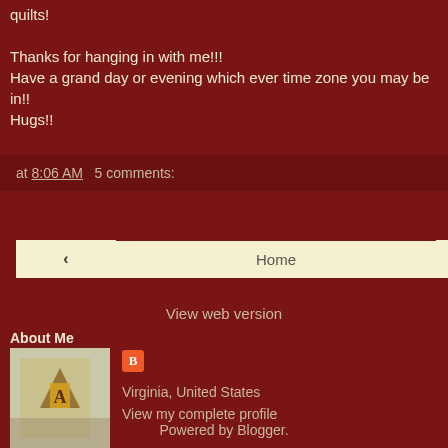quilts!

Thanks for hanging in with me!!!
Have a grand day or evening which ever time zone you may be in!!
Hugs!!
at 8:06 AM   5 comments:
‹   Home   ›
View web version
About Me
[Figure (photo): Profile photo showing a quilt with letter A and decorative elements]
Virginia, United States
View my complete profile
Powered by Blogger.